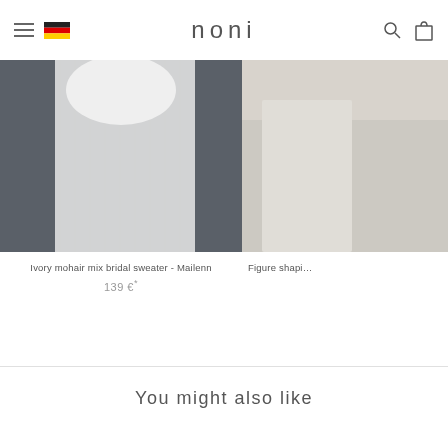noni
[Figure (photo): Bridal model wearing ivory mohair mix sweater with white tulle skirt against dark background]
[Figure (photo): Figure shaping product, partial view on light background]
Ivory mohair mix bridal sweater - Mailenn
139 €*
Figure shapi...
You might also like